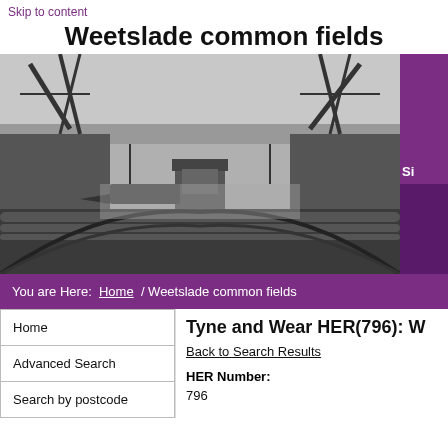Skip to content
Weetslade common fields
[Figure (photo): Black and white historical photograph of a river with industrial cranes, ships, and a railway swing bridge in the foreground.]
You are Here: Home / Weetslade common fields
Home
Advanced Search
Search by postcode
Tyne and Wear HER(796): W
Back to Search Results
HER Number:
796